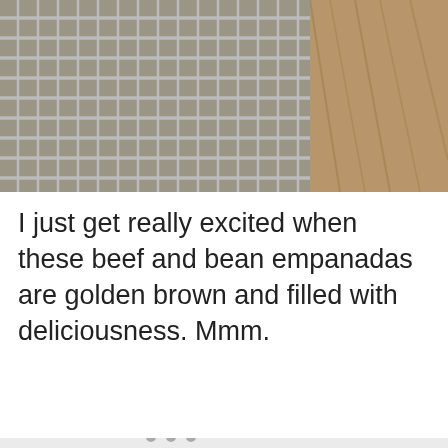[Figure (photo): Close-up photo of a metal wire cooling rack on a wooden surface, with golden brown empanadas visible underneath]
I just get really excited when these beef and bean empanadas are golden brown and filled with deliciousness. Mmm.
[Figure (photo): Second food photo partially visible, light gray placeholder with social UI overlay showing heart button, count badge showing 106, and share button]
[Figure (infographic): What's Next card showing 'Baked Beef Samosa' with thumbnail image]